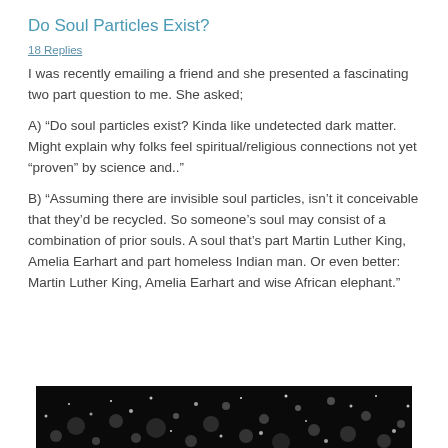Do Soul Particles Exist?
18 Replies
I was recently emailing a friend and she presented a fascinating two part question to me. She asked;
A) “Do soul particles exist? Kinda like undetected dark matter. Might explain why folks feel spiritual/religious connections not yet “proven” by science and..”
B) “Assuming there are invisible soul particles, isn’t it conceivable that they’d be recycled. So someone’s soul may consist of a combination of prior souls. A soul that’s part Martin Luther King, Amelia Earhart and part homeless Indian man. Or even better: Martin Luther King, Amelia Earhart and wise African elephant.”
[Figure (photo): Dark background with scattered glowing white bokeh/particle dots resembling stars or soul particles]